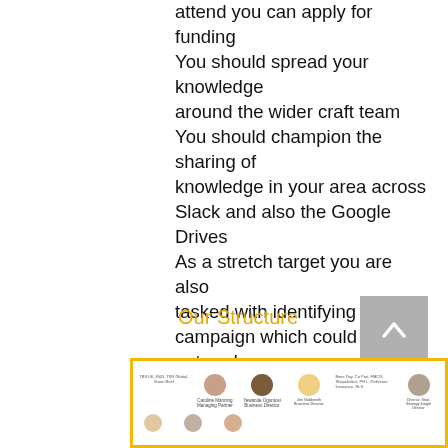attend you can apply for funding You should spread your knowledge around the wider craft team You should champion the sharing of knowledge in your area across Slack and also the Google Drives As a stretch target you are also tasked with identifying a Craft campaign which could be entered into your category sector awards.
Our Structure
[Figure (organizational-chart): Partial organizational chart with yellow border showing avatar photos and names of team members including Managing Partners, Business Directors, and Business Directors/Strategy roles.]